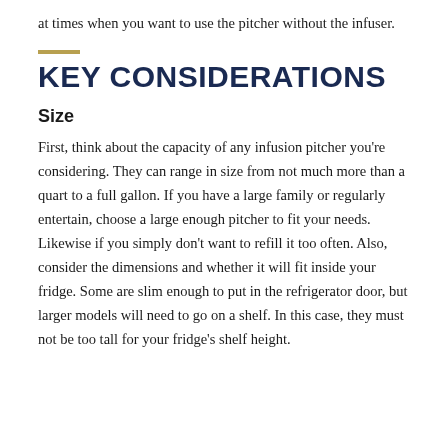at times when you want to use the pitcher without the infuser.
KEY CONSIDERATIONS
Size
First, think about the capacity of any infusion pitcher you're considering. They can range in size from not much more than a quart to a full gallon. If you have a large family or regularly entertain, choose a large enough pitcher to fit your needs. Likewise if you simply don't want to refill it too often. Also, consider the dimensions and whether it will fit inside your fridge. Some are slim enough to put in the refrigerator door, but larger models will need to go on a shelf. In this case, they must not be too tall for your fridge's shelf height.